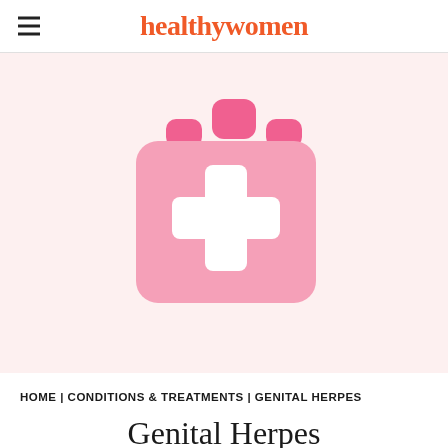healthywomen
[Figure (illustration): Pink first aid / medical kit icon with a white cross on a light pink background]
HOME | CONDITIONS & TREATMENTS | GENITAL HERPES
Genital Herpes